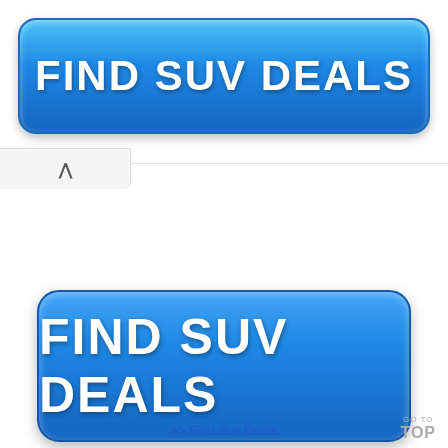[Figure (screenshot): Blue rounded rectangle button with white bold text reading FIND SUV DEALS at top of page]
[Figure (screenshot): Collapse/accordion bar with upward caret chevron symbol on left side, with horizontal divider line extending to right]
[Figure (screenshot): Large blue rounded rectangle button with white bold text reading FIND SUV DEALS in center of page]
>> Find Suv Deals
GO TO TOP